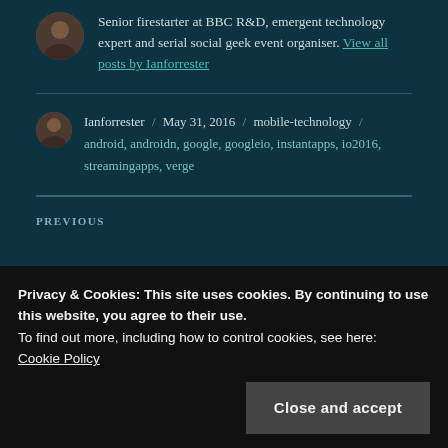Senior firestarter at BBC R&D, emergent technology expert and serial social geek event organiser. View all posts by Ianforrester
Ianforrester / May 31, 2016 / mobile-technology / android, androidn, google, googleio, instantapps, io2016, streamingapps, verge
PREVIOUS
Privacy & Cookies: This site uses cookies. By continuing to use this website, you agree to their use.
To find out more, including how to control cookies, see here: Cookie Policy
NEXT